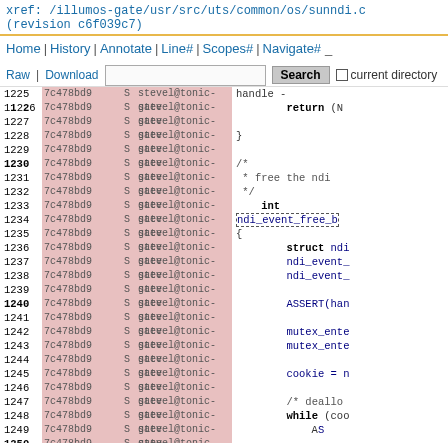xref: /illumos-gate/usr/src/uts/common/os/sunndi.c
(revision c6f039c7)
Home | History | Annotate | Line# | Scopes# | Navigate# _
Raw | Download   [Search]  current directory
| Line | Hash | S | Author | Code |
| --- | --- | --- | --- | --- |
| 1225 | 7c478bd9 | S | stevel@tonic-gate | handle - |
| 1226 | 7c478bd9 | S | stevel@tonic-gate | return (N |
| 1227 | 7c478bd9 | S | stevel@tonic-gate |  |
| 1228 | 7c478bd9 | S | stevel@tonic-gate | } |
| 1229 | 7c478bd9 | S | stevel@tonic-gate |  |
| 1230 | 7c478bd9 | S | stevel@tonic-gate | /* |
| 1231 | 7c478bd9 | S | stevel@tonic-gate |  * free the ndi |
| 1232 | 7c478bd9 | S | stevel@tonic-gate |  */ |
| 1233 | 7c478bd9 | S | stevel@tonic-gate | int |
| 1234 | 7c478bd9 | S | stevel@tonic-gate | ndi_event_free_b |
| 1235 | 7c478bd9 | S | stevel@tonic-gate | { |
| 1236 | 7c478bd9 | S | stevel@tonic-gate | struct ndi |
| 1237 | 7c478bd9 | S | stevel@tonic-gate | ndi_event_ |
| 1238 | 7c478bd9 | S | stevel@tonic-gate | ndi_event_ |
| 1239 | 7c478bd9 | S | stevel@tonic-gate |  |
| 1240 | 7c478bd9 | S | stevel@tonic-gate | ASSERT(han |
| 1241 | 7c478bd9 | S | stevel@tonic-gate |  |
| 1242 | 7c478bd9 | S | stevel@tonic-gate | mutex_ente |
| 1243 | 7c478bd9 | S | stevel@tonic-gate | mutex_ente |
| 1244 | 7c478bd9 | S | stevel@tonic-gate |  |
| 1245 | 7c478bd9 | S | stevel@tonic-gate | cookie = n |
| 1246 | 7c478bd9 | S | stevel@tonic-gate |  |
| 1247 | 7c478bd9 | S | stevel@tonic-gate | /* deallo |
| 1248 | 7c478bd9 | S | stevel@tonic-gate | while (coo |
| 1249 | 7c478bd9 | S | stevel@tonic-gate | AS |
| 1250 | 7c478bd9 | S | stevel@tonic-gate |  |